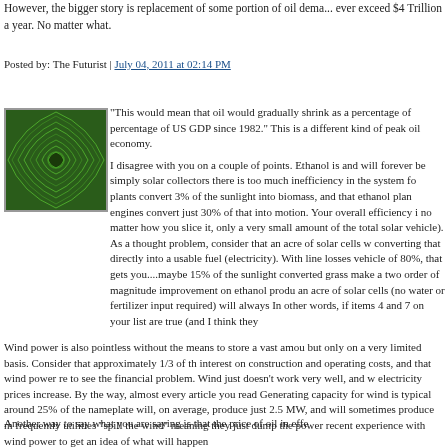However, the bigger story is replacement of some portion of oil demand. No matter how high oil prices go, spending on oil will probably never exceed $4 Trillion a year. No matter what.
Posted by: The Futurist | July 04, 2011 at 02:14 PM
[Figure (illustration): Green spiral fractal avatar image]
"This would mean that oil would gradually shrink as a percentage of percentage of US GDP since 1982." This is a different kind of peak oil economy.
I disagree with you on a couple of points. Ethanol is and will forever be simply solar collectors there is too much inefficiency in the system for plants convert 3% of the sunlight into biomass, and that ethanol plants engines convert just 30% of that into motion. Your overall efficiency is no matter how you slice it, only a very small amount of the total solar vehicle). As a thought problem, consider that an acre of solar cells w converting that directly into a usable fuel (electricity). With line losses vehicle of 80%, that gets you....maybe 15% of the sunlight converted grass make a two order of magnitude improvement on ethanol produ an acre of solar cells (no water or fertilizer input required) will always In other words, if items 4 and 7 on your list are true (and I think they
Wind power is also pointless without the means to store a vast amou but only on a very limited basis. Consider that approximately 1/3 of th interest on construction and operating costs, and that wind power re to see the financial problem. Wind just doesn't work very well, and w electricity prices increase. By the way, almost every article you read Generating capacity for wind is typical around 25% of the nameplate will, on average, produce just 2.5 MW, and will sometimes produce m frequently utilities "spill the wind" meaning they just dump the power recent experience with wind power to get an idea of what will happen
Another way to say what you are saying is that the price of oil in effe